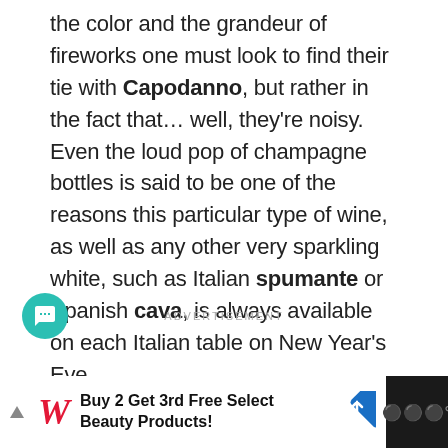the color and the grandeur of fireworks one must look to find their tie with Capodanno, but rather in the fact that… well, they're noisy. Even the loud pop of champagne bottles is said to be one of the reasons this particular type of wine, as well as any other very sparkling white, such as Italian spumante or Spanish cava, is always available on each Italian table on New Year's Eve.
ADVERTISEMENT
[Figure (other): Advertisement banner: Walgreens logo with text 'Buy 2 Get 3rd Free Select Beauty Products!' and a blue navigation arrow icon on dark background]